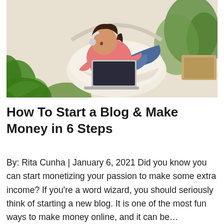[Figure (photo): A young woman with headphones around her neck, wearing a pink sweater and jeans, sitting in a round hanging chair working on a laptop, surrounded by green plants indoors.]
How To Start a Blog & Make Money in 6 Steps
By: Rita Cunha | January 6, 2021 Did you know you can start monetizing your passion to make some extra income? If you're a word wizard, you should seriously think of starting a new blog. It is one of the most fun ways to make money online, and it can be…